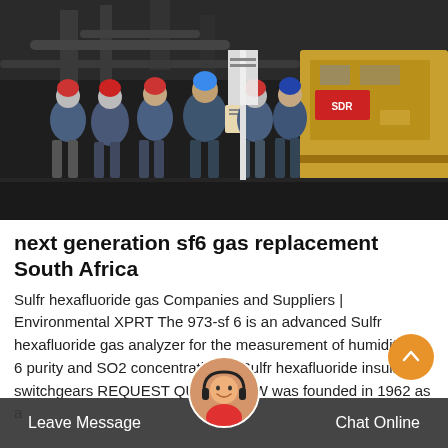[Figure (photo): Industrial workers in blue uniforms and red/blue hard hats standing near heavy equipment and a yellow truck at an industrial facility]
next generation sf6 gas replacement South Africa
Sulfr hexafluoride gas Companies and Suppliers | Environmental XPRT The 973-sf 6 is an advanced Sulfr hexafluoride gas analyzer for the measurement of humidity, sf 6 purity and SO2 concentration in Sulfr hexafluoride insulated switchgears REQUEST QUOTE MBW was founded in 1962 as a